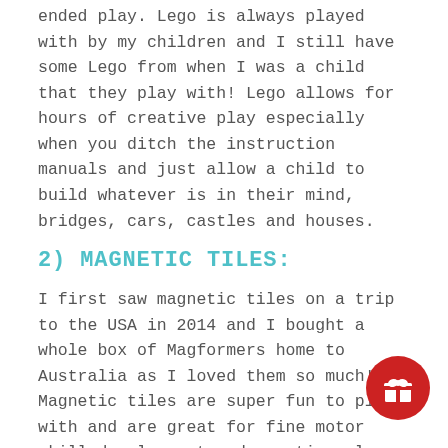ended play. Lego is always played with by my children and I still have some Lego from when I was a child that they play with! Lego allows for hours of creative play especially when you ditch the instruction manuals and just allow a child to build whatever is in their mind, bridges, cars, castles and houses.
2) MAGNETIC TILES:
I first saw magnetic tiles on a trip to the USA in 2014 and I bought a whole box of Magformers home to Australia as I loved them so much! Magnetic tiles are super fun to play with and are great for fine motor skill development and creative play.
At BabyDonkie we now stock Connetix Magnetic tiles which are designed in Australia. They have become one of our best selling toys and you can see why! They are awesome for open-ended play and can be used with other